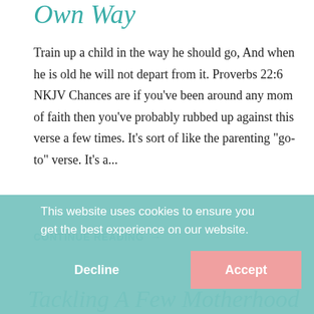Own Way
Train up a child in the way he should go, And when he is old he will not depart from it. Proverbs 22:6 NKJV Chances are if you've been around any mom of faith then you've probably rubbed up against this verse a few times. It's sort of like the parenting “go-to” verse. It's a...
CONTINUE READING →
This website uses cookies to ensure you get the best experience on our website.
Decline
Accept
Tackling A Few Motherhood